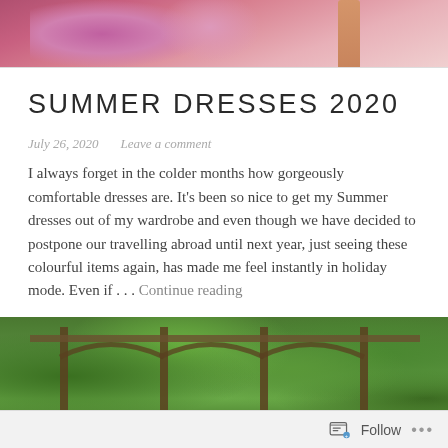[Figure (photo): Top portion of blog post hero image showing a woman in a pink floral dress, cropped at the waist, with a wooden structure in the background]
SUMMER DRESSES 2020
July 26, 2020   Leave a comment
I always forget in the colder months how gorgeously comfortable dresses are. It's been so nice to get my Summer dresses out of my wardrobe and even though we have decided to postpone our travelling abroad until next year, just seeing these colourful items again, has made me feel instantly in holiday mode. Even if . . . Continue reading
[Figure (photo): Bottom portion showing a garden scene with green foliage, wooden arch/pergola structures, and a person visible at the bottom]
Follow ...